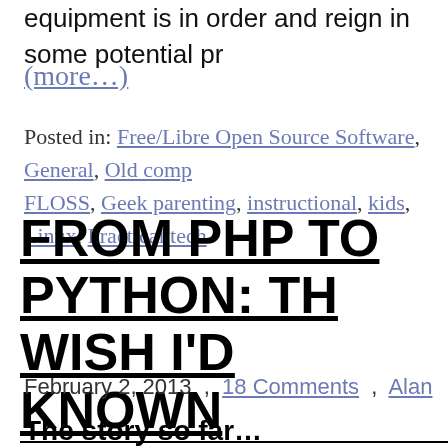equipment is in order and reign in some potential pr
(more...)
Posted in: Free/Libre Open Source Software, General, Old comp FLOSS, Geek parenting, instructional, kids, Linux, Practical tech
FROM PHP TO PYTHON: TH WISH I'D KNOWN
February 2, 2013 , 18 Comments , Alan
The story so far…